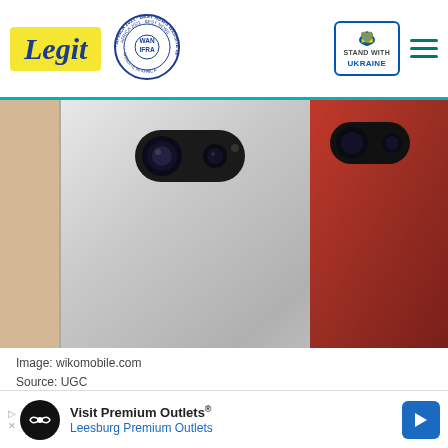Legit — WAN-IFRA 2021 Best News Website in Africa — Stand with Ukraine
[Figure (photo): Close-up photo of rear cameras of smartphones in silver, gold, and red colors]
Image: wikomobile.com
Source: UGC
[Figure (other): Video popup overlay with quote 'WE ARE ALL MOVING ON' in blue box, and a person in blue jacket, with red chevron button]
set is not the best for taking … has a 5MP rear camera with a … needs. The camera also
[Figure (other): Bottom advertisement banner: Visit Premium Outlets® — Leesburg Premium Outlets, with Infinite icon and blue arrow button]